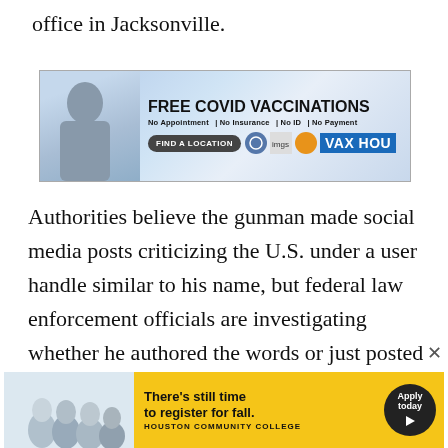office in Jacksonville.
[Figure (other): Advertisement banner for free COVID vaccinations. Text: FREE COVID VACCINATIONS, No Appointment | No Insurance | No ID | No Payment, FIND A LOCATION, VAX HOU]
Authorities believe the gunman made social media posts criticizing the U.S. under a user handle similar to his name, but federal law enforcement officials are investigating whether he authored the words or just posted them, said the official, who was not authorized to discuss the matter publicly and spoke to The Associated Press on condition of anonymity.
[Figure (other): Advertisement for Houston Community College. Text: There's still time to register for fall. Apply today. HOUSTON COMMUNITY COLLEGE]